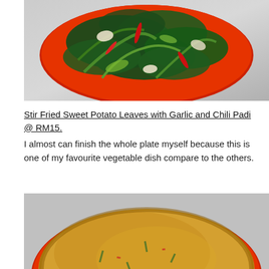[Figure (photo): Overhead photo of stir-fried dark green leafy vegetables (sweet potato leaves) with red chili peppers and sliced garlic on a bright orange-red plate, on a metal surface.]
Stir Fried Sweet Potato Leaves with Garlic and Chili Padi @ RM15.
I almost can finish the whole plate myself because this is one of my favourite vegetable dish compare to the others.
[Figure (photo): Overhead photo of a round golden-brown omelette or egg-based dish served on a bright orange-red plate on a metal surface.]